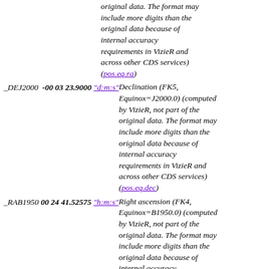original data. The format may include more digits than the original data because of internal accuracy requirements in VizieR and across other CDS services) (pos.eq.ra)
_DEJ2000  -00 03 23.9000  "d:m:s"  Declination (FK5, Equinox=J2000.0) (computed by VizieR, not part of the original data. The format may include more digits than the original data because of internal accuracy requirements in VizieR and across other CDS services) (pos.eq.dec)
_RAB1950  00 24 41.52575  "h:m:s"  Right ascension (FK4, Equinox=B1950.0) (computed by VizieR, not part of the original data. The format may include more digits than the original data because of internal accuracy requirements in VizieR and